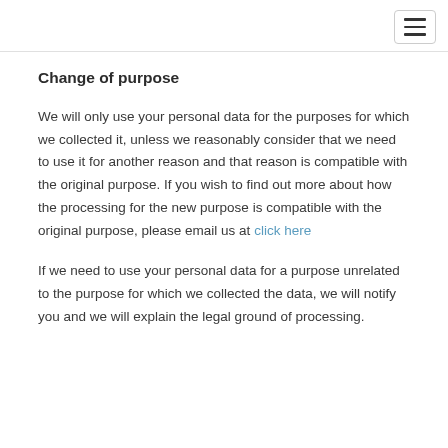Change of purpose
We will only use your personal data for the purposes for which we collected it, unless we reasonably consider that we need to use it for another reason and that reason is compatible with the original purpose. If you wish to find out more about how the processing for the new purpose is compatible with the original purpose, please email us at click here
If we need to use your personal data for a purpose unrelated to the purpose for which we collected the data, we will notify you and we will explain the legal ground of processing.